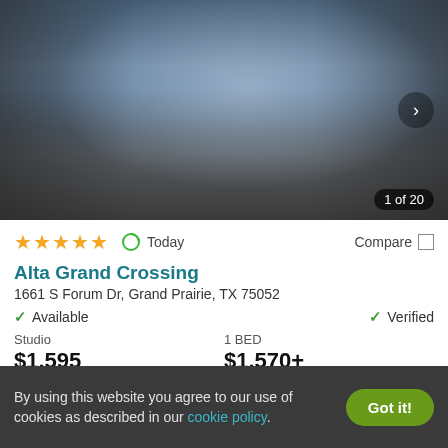[Figure (photo): Interior photo of an apartment community clubhouse/lobby with modern furniture, blue accent walls, gray sofas, and a bronze/gold round coffee table. Shows a corridor perspective with large windows at the far end.]
1 of 20
★★★★★  Today  Compare
Alta Grand Crossing
1661 S Forum Dr, Grand Prairie, TX 75052
✓ Available   ✓ Verified
| Studio | 1 BED |
| --- | --- |
| $1,595 | $1,570+ |
By using this website you agree to our use of cookies as described in our cookie policy.